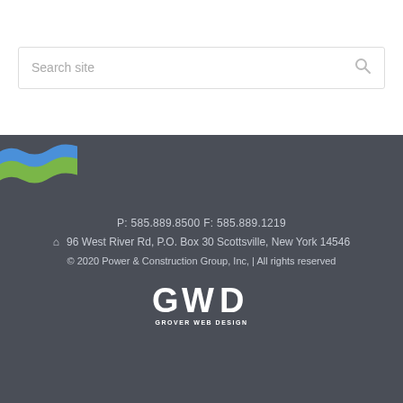Search site
[Figure (logo): Power & Construction Group wave logo mark — blue and green wave stripes on dark background]
P: 585.889.8500 F: 585.889.1219
96 West River Rd, P.O. Box 30 Scottsville, New York 14546
© 2020 Power & Construction Group, Inc, | All rights reserved
[Figure (logo): GWD Grover Web Design logo in white]